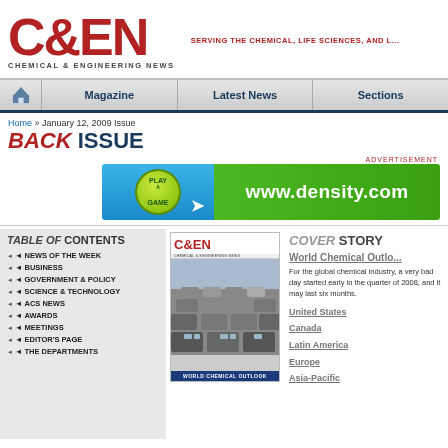[Figure (logo): C&EN Chemical & Engineering News logo with tagline SERVING THE CHEMICAL, LIFE SCIENCES, AND L...]
Magazine | Latest News | Sections
Home » January 12, 2009 Issue
BACK ISSUE
ADVERTISEMENT
[Figure (screenshot): Advertisement banner for www.density.com with Play a Game button]
TABLE OF CONTENTS
NEWS OF THE WEEK
BUSINESS
GOVERNMENT & POLICY
SCIENCE & TECHNOLOGY
ACS NEWS
AWARDS
MEETINGS
EDITOR'S PAGE
THE DEPARTMENTS
[Figure (photo): C&EN magazine cover for January 12 2009 showing rows of parked cars with caption WORLD CHEMICAL OUTLOOK]
COVER STORY
World Chemical Outlook
For the global chemical industry, a very bad day started early in the quarter of 2008, and it may last six months.
United States
Canada
Latin America
Europe
Asia-Pacific